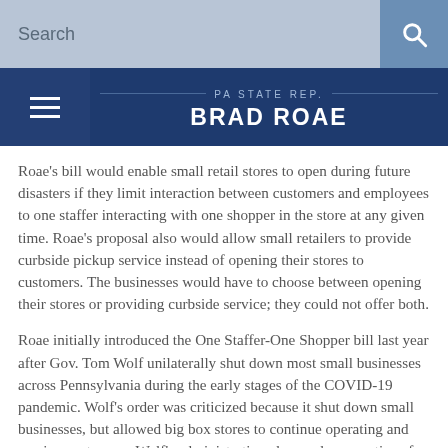Search
PA STATE REP. BRAD ROAE
Roae's bill would enable small retail stores to open during future disasters if they limit interaction between customers and employees to one staffer interacting with one shopper in the store at any given time. Roae's proposal also would allow small retailers to provide curbside pickup service instead of opening their stores to customers. The businesses would have to choose between opening their stores or providing curbside service; they could not offer both.
Roae initially introduced the One Staffer-One Shopper bill last year after Gov. Tom Wolf unilaterally shut down most small businesses across Pennsylvania during the early stages of the COVID-19 pandemic. Wolf's order was criticized because it shut down small businesses, but allowed big box stores to continue operating and serving customers. Wolf's administration also made exemptions for some small businesses, but never fully identified the criteria it used to decide which small businesses could remain open.
“The governor – regardless of whether it’s this one or a future governor – should not have the power to unilaterally